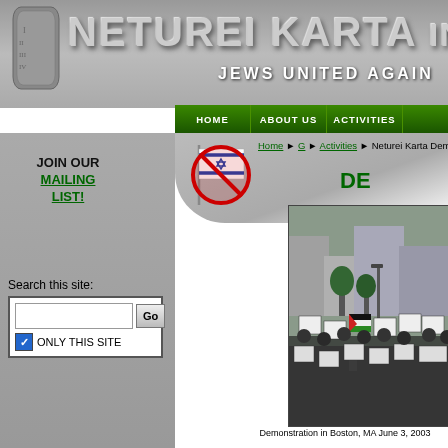[Figure (screenshot): Neturei Karta website screenshot showing header banner, navigation bar, sidebar with mailing list and search, and main content area with demonstration photo]
NETUREI KARTA IN
JEWS UNITED AGAIN
HOME   ABOUT US   ACTIVITIES
JOIN OUR MAILING LIST!
Search this site:
ONLY THIS SITE
Home ► G ► Activities ► Neturei Karta Demonstrations
DE
[Figure (photo): Demonstration march in Boston MA with people carrying signs and Palestinian flags]
Demonstration in Boston, MA June 3, 2003